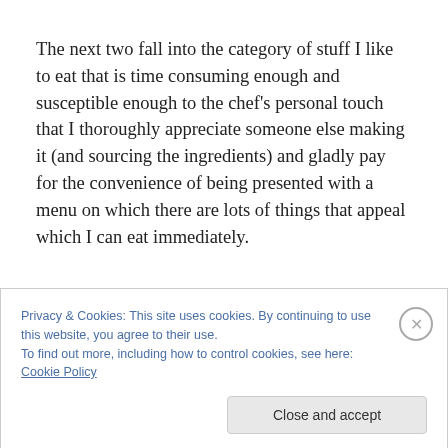The next two fall into the category of stuff I like to eat that is time consuming enough and susceptible enough to the chef's personal touch that I thoroughly appreciate someone else making it (and sourcing the ingredients) and gladly pay for the convenience of being presented with a menu on which there are lots of things that appeal which I can eat immediately.
Privacy & Cookies: This site uses cookies. By continuing to use this website, you agree to their use.
To find out more, including how to control cookies, see here: Cookie Policy